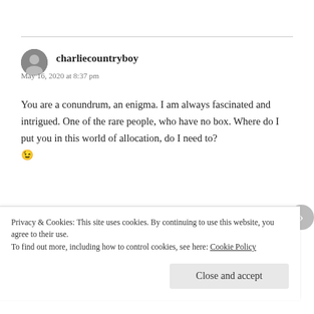charliecountryboy
May 16, 2020 at 8:37 pm
You are a conundrum, an enigma. I am always fascinated and intrigued. One of the rare people, who have no box. Where do I put you in this world of allocation, do I need to? 😉
★ Liked by 3 people
REPLY
Privacy & Cookies: This site uses cookies. By continuing to use this website, you agree to their use.
To find out more, including how to control cookies, see here: Cookie Policy
Close and accept